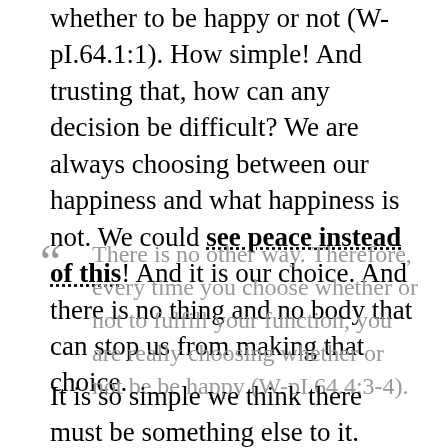whether to be happy or not (W-pI.64.1:1). How simple! And trusting that, how can any decision be difficult? We are always choosing between our happiness and what happiness is not. We could see peace instead of this! And it is our choice. And there is no thing and no body that can stop us from making that choice.
“ There is no other way. Therefore, every time you choose whether or not to fulfill your function, you are really choosing whether or not be be happy (W-pI.64.4:3-4).
It is so simple we think there must be something else to it. There must be some hidden meaning. There must be some mystery. Let me break out the